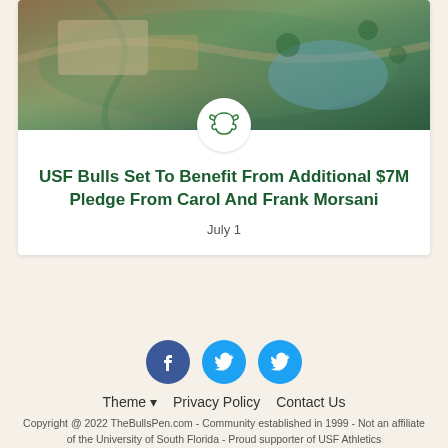[Figure (photo): Aerial photo of USF Bulls stadium/athletic facility with green fields and parking areas]
USF Bulls Set To Benefit From Additional $7M Pledge From Carol And Frank Morsani
July 1
[Figure (logo): Social media icons: Facebook and two Twitter icons]
Theme ▾   Privacy Policy   Contact Us
Copyright @ 2022 TheBullsPen.com - Community established in 1999 - Not an affiliate of the University of South Florida - Proud supporter of USF Athletics
Powered by Invision Community